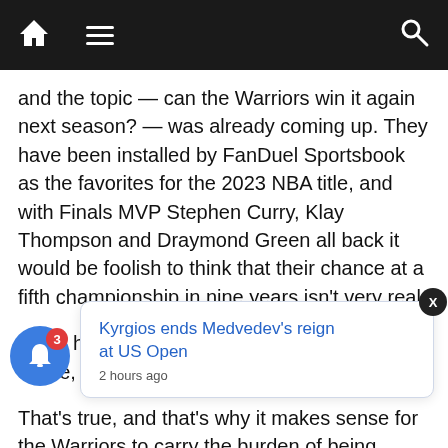Navigation bar with home, menu, and search icons
and the topic — can the Warriors win it again next season? — was already coming up. They have been installed by FanDuel Sportsbook as the favorites for the 2023 NBA title, and with Finals MVP Stephen Curry, Klay Thompson and Draymond Green all back it would be foolish to think that their chance at a fifth championship in nine years isn't very real.
'It still has not been proven, that when we're whole, that anybody can stop it,' Green said.
That's true, and that's why it makes sense for the Warriors to carry the burden of being favorites into next season. champi — as the rest of the league combined. The last run that was better than this was put together by
[Figure (infographic): Popup notification card reading 'Kyrgios ends Medvedev's reign at US Open' with '2 hours ago' timestamp, with a blue notification bell icon and red badge showing '3', and an X close button.]